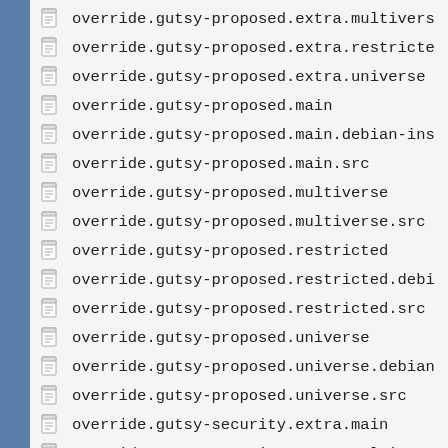override.gutsy-proposed.extra.multivers
override.gutsy-proposed.extra.restricte
override.gutsy-proposed.extra.universe
override.gutsy-proposed.main
override.gutsy-proposed.main.debian-ins
override.gutsy-proposed.main.src
override.gutsy-proposed.multiverse
override.gutsy-proposed.multiverse.src
override.gutsy-proposed.restricted
override.gutsy-proposed.restricted.debi
override.gutsy-proposed.restricted.src
override.gutsy-proposed.universe
override.gutsy-proposed.universe.debian
override.gutsy-proposed.universe.src
override.gutsy-security.extra.main
override.gutsy-security.extra.multivers